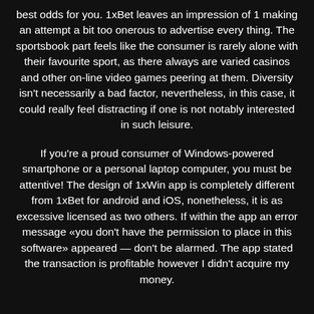best odds for you. 1xBet leaves an impression of 1 making an attempt a bit too onerous to advertise every thing. The sportsbook part feels like the consumer is rarely alone with their favourite sport, as there always are varied casinos and other on-line video games peering at them. Diversity isn't necessarily a bad factor, nevertheless, in this case, it could really feel distracting if one is not notably interested in such leisure.
If you're a proud consumer of Windows-powered smartphone or a personal laptop computer, you must be attentive! The design of 1xWin app is completely different from 1xBet for android and iOS, nonetheless, it is as excessive licensed as two others. If within the app an error message «you don't have the permission to place in this software» appeared — don't be alarmed. The app stated the transaction is profitable however I didn't acquire my money.